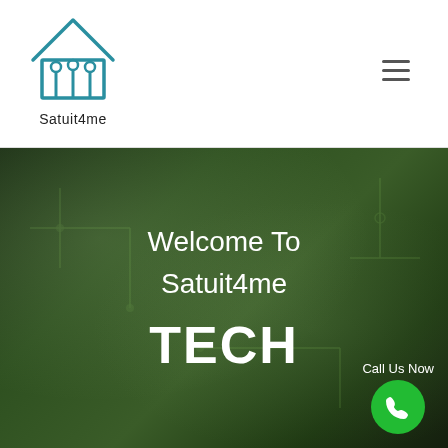[Figure (logo): Satuit4me logo: a house outline with circuit board pins/traces drawn inside, in teal/blue color. Text 'Satuit4me' below the house icon.]
[Figure (other): Hamburger menu icon (three horizontal lines) in the top right of the header.]
[Figure (photo): Hero section background photo showing a blurred green circuit board.]
Welcome To Satuit4me TECH
Call Us Now